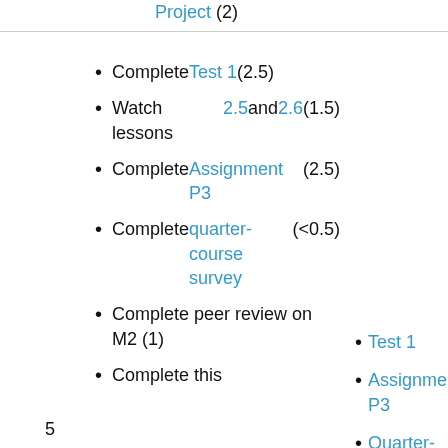Project (2)
Complete Test 1 (2.5)
Watch lessons 2.5 and 2.6 (1.5)
Complete Assignment P3 (2.5)
Complete quarter-course survey (<0.5)
Complete peer review on M2 (1)
Complete this ...
Test 1
Assignment P3
Quarter-Course S...
5